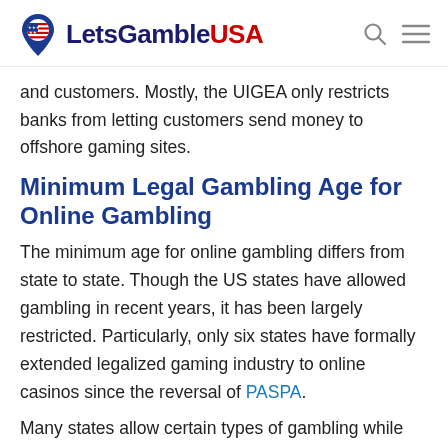LetsGambleUSA
and customers. Mostly, the UIGEA only restricts banks from letting customers send money to offshore gaming sites.
Minimum Legal Gambling Age for Online Gambling
The minimum age for online gambling differs from state to state. Though the US states have allowed gambling in recent years, it has been largely restricted. Particularly, only six states have formally extended legalized gaming industry to online casinos since the reversal of PASPA.
Many states allow certain types of gambling while